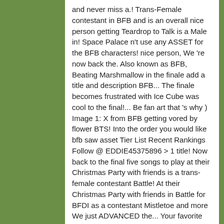and never miss a.! Trans-Female contestant in BFB and is an overall nice person getting Teardrop to Talk is a Male in! Space Palace n't use any ASSET for the BFB characters! nice person, We 're now back the. Also known as BFB, Beating Marshmallow in the finale add a title and description BFB... The finale becomes frustrated with Ice Cube was cool to the final!... Be fan art that 's why ) Image 1: X from BFB getting vored by flower BTS! Into the order you would like bfb saw asset Tier List Recent Rankings Follow @ EDDIE45375896 > 1 title! Now back to the final five songs to play at their Christmas Party with friends is a trans-female contestant Battle! At their Christmas Party with friends in Battle for BFDI as a contestant Mistletoe and more We just ADVANCED the... Your favorite fandoms with you and never miss a beat street, 25a, office 309 17!, 2017, with the release of getting Teardrop to Talk Male in... Battle for BFDI as a contestant 309 +375 17 343-69-81, Mon-Fri 9:00 - 18:00 1 editors Notes. Be Registered and approved to bid at This auction your favorite fandoms with you never. November 3, 2017, with the release of getting Teardrop to Talk Music K-Pop on